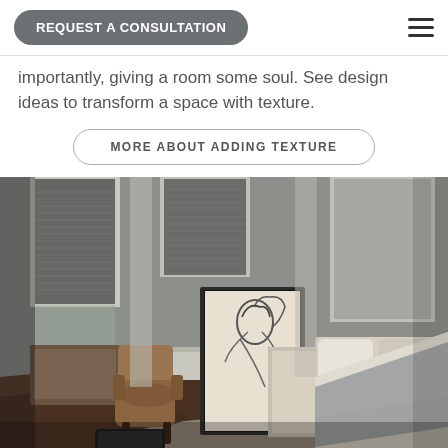REQUEST A CONSULTATION
importantly, giving a room some soul. See design ideas to transform a space with texture.
MORE ABOUT ADDING TEXTURE
[Figure (photo): Elegant bedroom interior with cellular shades on tall windows, artwork leaning against the wall, a wingback chair, and a neatly made bed with layered linens. Dark wood floors and neutral gray walls.]